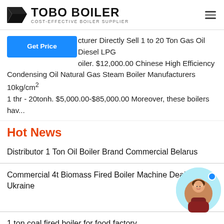TOBO BOILER COST-EFFECTIVE BOILER SUPPLIER
cturer Directly Sell 1 to 20 Ton Gas Oil Diesel LPG oiler. $12,000.00 Chinese High Efficiency Condensing Oil Natural Gas Steam Boiler Manufacturers 10kg/cm2 1 thr - 20tonh. $5,000.00-$85,000.00 Moreover, these boilers hav...
Hot News
Distributor 1 Ton Oil Boiler Brand Commercial Belarus
Commercial 4t Biomass Fired Boiler Machine Dealer Ukraine
1 ton coal fired boiler for food factory
...ater
Dealer 6t Oil Boiler Machine High Efficiency Georgia